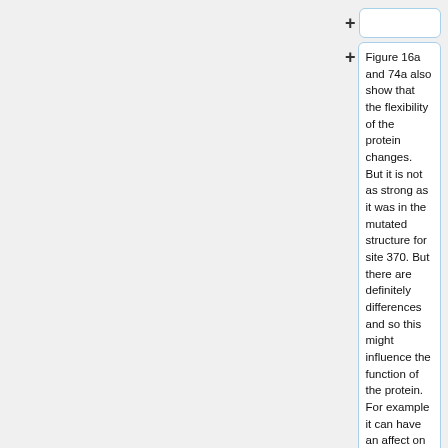(collapsed box)
Figure 16a and 74a also show that the flexibility of the protein changes. But it is not as strong as it was in the mutated structure for site 370. But there are definitely differences and so this might influence the function of the protein. For example it can have an affect on the binding property.
(collapsed box)
'''Convergence of RMSD'''
(collapsed box, partial)